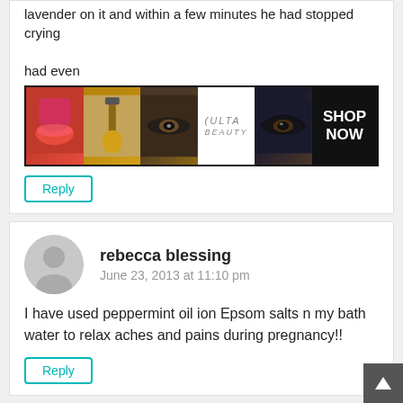lavender on it and within a few minutes he had stopped crying had even
[Figure (advertisement): ULTA beauty advertisement banner with makeup images and SHOP NOW button]
Reply
rebecca blessing
June 23, 2013 at 11:10 pm
I have used peppermint oil ion Epsom salts n my bath water to relax aches and pains during pregnancy!!
Reply
Melissa Hawkins
June 24, 2013 at 6:40 am
I love
[Figure (advertisement): MAC cosmetics advertisement with lipsticks and SHOP NOW button, with CLOSE button]
[Figure (other): Scroll to top button]